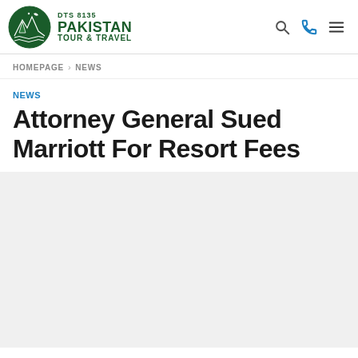DTS 8135 PAKISTAN TOUR & TRAVEL
HOMEPAGE > NEWS
NEWS
Attorney General Sued Marriott For Resort Fees